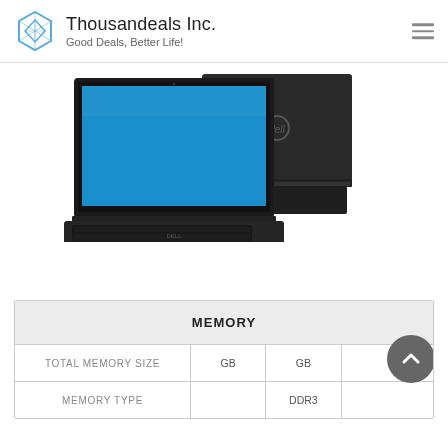Thousandeals Inc. — Good Deals, Better Life!
[Figure (photo): Two Dell laptops shown from front and back angles on white background]
|  | MEMORY |  |  |
| --- | --- | --- | --- |
| TOTAL MEMORY SIZE | GB | GB |  |
| MEMORY TYPE |  | DDR3 |  |